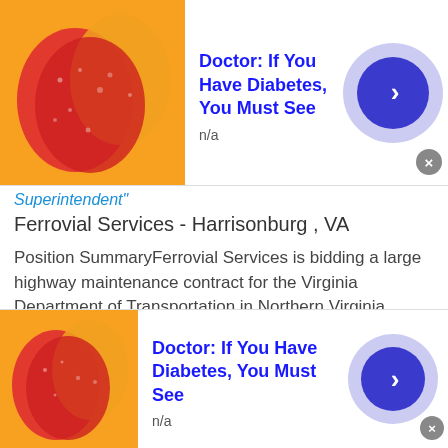[Figure (advertisement): Top ad banner: candy/gummies image on left, blue bold text 'Doctor: If You Have Diabetes, You Must See' with 'n/a' below, blue circle arrow button on right, grey X close button]
Superintendent"
Ferrovial Services - Harrisonburg , VA
Position SummaryFerrovial Services is bidding a large highway maintenance contract for the Virginia Department of Transportation in Northern Virginia district area (NOVA), in the counties of Rockingham, Shenandoah, Frederick and Warren.Please Read! This posting is for a bid that our organization is undertaking. We are seeking individuals for potential employment contingent upon the outcome of this effort. Should a contract be awarded to our
This site uses cookies and other similar technologies to provide site functionality, analyze traffic and usage, and
[Figure (advertisement): Bottom ad banner: candy/gummies image on left, blue bold text 'Doctor: If You Have Diabetes, You Must See' with 'n/a' below, blue circle arrow button on right, grey X close button]